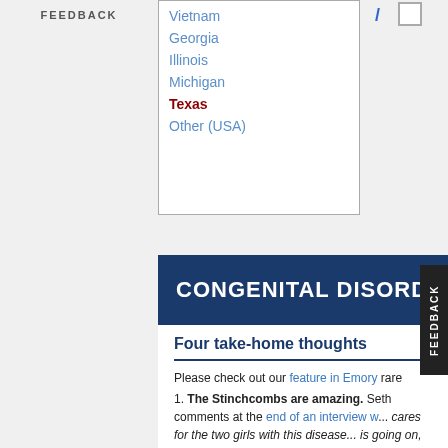FEEDBACK
| Vietnam |
| Georgia |
| Illinois |
| Michigan |
| Texas |
| Other (USA) |
CONGENITAL DISORD...
Four take-home thoughts
Please check out our feature in Emory... rare genetic disorder was identified on... uncovering its mysteries.
The Stinchcombs are amazing. Seth... comments at the end of an interview w... cares for the two girls with this disease... is going on, they're the most good-natu...